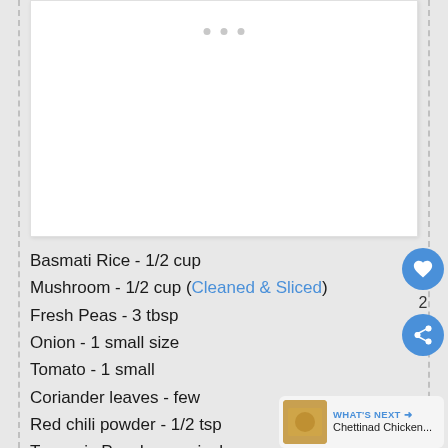[Figure (other): White card placeholder area with three grey dots at top center, likely an advertisement or image placeholder]
Basmati Rice - 1/2 cup
Mushroom - 1/2 cup (Cleaned & Sliced)
Fresh Peas - 3 tbsp
Onion - 1 small size
Tomato - 1 small
Coriander leaves - few
Red chili powder - 1/2 tsp
Turmeric Powder - a pinch